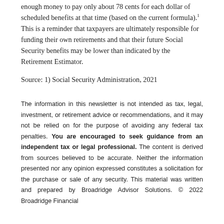enough money to pay only about 78 cents for each dollar of scheduled benefits at that time (based on the current formula).¹ This is a reminder that taxpayers are ultimately responsible for funding their own retirements and that their future Social Security benefits may be lower than indicated by the Retirement Estimator.
Source: 1) Social Security Administration, 2021
The information in this newsletter is not intended as tax, legal, investment, or retirement advice or recommendations, and it may not be relied on for the purpose of avoiding any federal tax penalties. You are encouraged to seek guidance from an independent tax or legal professional. The content is derived from sources believed to be accurate. Neither the information presented nor any opinion expressed constitutes a solicitation for the purchase or sale of any security. This material was written and prepared by Broadridge Advisor Solutions. © 2022 Broadridge Financial